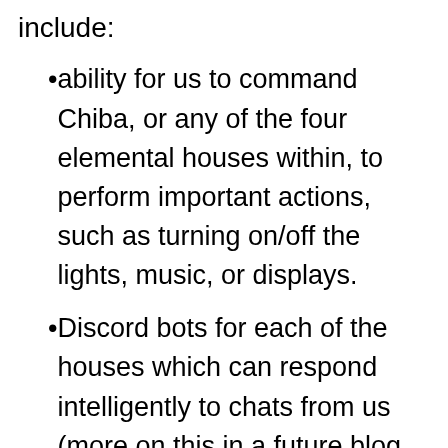include:
ability for us to command Chiba, or any of the four elemental houses within, to perform important actions, such as turning on/off the lights, music, or displays.
Discord bots for each of the houses which can respond intelligently to chats from us (more on this in a future blog post).
smart control of the power distribution. guided by readouts